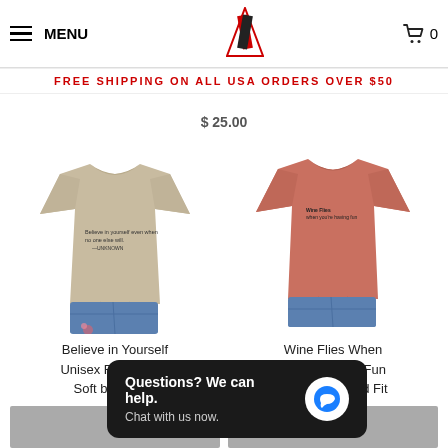MENU  [Logo]  0
FREE SHIPPING ON ALL USA ORDERS OVER $50
$ 25.00
[Figure (photo): Beige/tan unisex t-shirt with small text graphic, tied at hem, worn with denim shorts]
Believe in Yourself Unisex Relaxed Fit Soft blend Tee
$
[Figure (photo): Dusty rose/terracotta unisex t-shirt with small chest text graphic, tied at hem, worn with denim shorts]
Wine Flies When You're Having Fun Unisex Relaxed Fit Soft blend Tee
$ 25.00
Questions? We can help. Chat with us now.